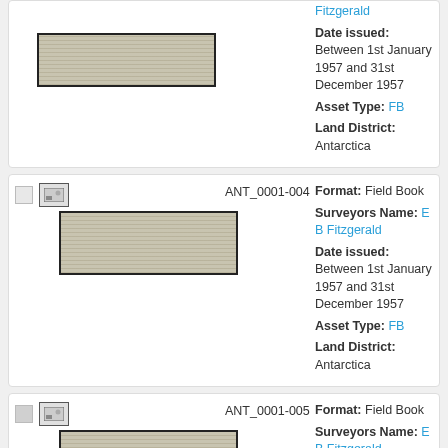Fitzgerald | Date issued: Between 1st January 1957 and 31st December 1957 | Asset Type: FB | Land District: Antarctica
[Figure (photo): Thumbnail image of a field book page, ANT_0001-004]
ANT_0001-004 | Format: Field Book | Surveyors Name: E B Fitzgerald | Date issued: Between 1st January 1957 and 31st December 1957 | Asset Type: FB | Land District: Antarctica
[Figure (photo): Thumbnail image of a field book page, ANT_0001-005]
ANT_0001-005 | Format: Field Book | Surveyors Name: E B Fitzgerald | Date issued: Between 1st January 1957 and 31st December 1957 | Asset Type: FB | Land District: